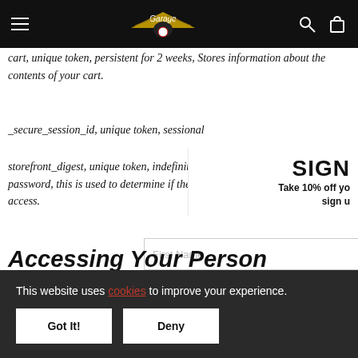Navigation bar with hamburger menu, Garage logo, search and cart icons
cart, unique token, persistent for 2 weeks, Stores information about the contents of your cart.
_secure_session_id, unique token, sessional
storefront_digest, unique token, indefinite If the password, this is used to determine if the curr access.
Accessing Your Person Information
SIGN UP
Take 10% off yo sign u
First Name
This website uses cookies to improve your experience.
Got It!
Deny